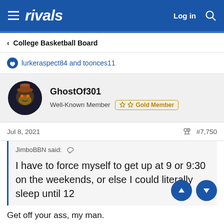rivals   Log in
< College Basketball Board
lurkeraspect84 and toonces11
GhostOf301
Well-Known Member  Gold Member
Jul 8, 2021  #7,750
JimboBBN said:
I have to force myself to get up at 9 or 9:30 on the weekends, or else I could literally sleep until 12
Get off your ass, my man.